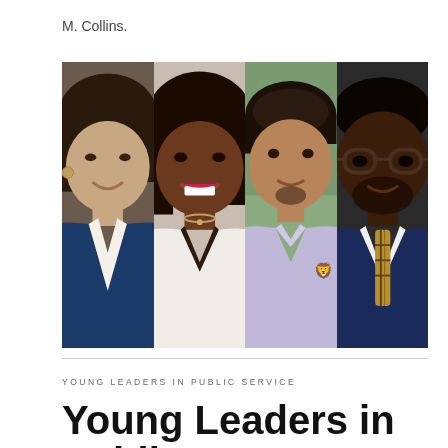M. Collins.
[Figure (photo): Four headshot photos side by side: a woman with dark hair in a blue blazer, a Black woman in a white jacket smiling, a young Latino man in a lavender polo shirt, and a Black man with glasses in a navy suit with a plaid tie.]
YOUNG LEADERS IN PUBLIC SERVICE
Young Leaders in Public